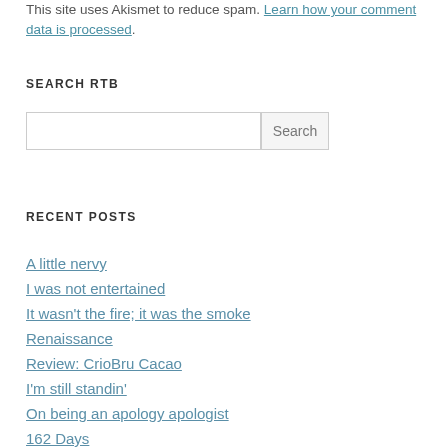This site uses Akismet to reduce spam. Learn how your comment data is processed.
SEARCH RTB
Search input and button
RECENT POSTS
A little nervy
I was not entertained
It wasn't the fire; it was the smoke
Renaissance
Review: CrioBru Cacao
I'm still standin'
On being an apology apologist
162 Days